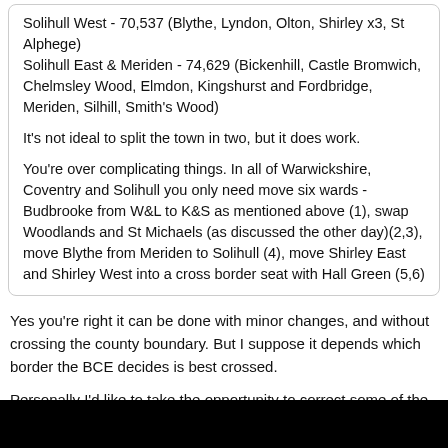Solihull West - 70,537 (Blythe, Lyndon, Olton, Shirley x3, St Alphege)
Solihull East & Meriden - 74,629 (Bickenhill, Castle Bromwich, Chelmsley Wood, Elmdon, Kingshurst and Fordbridge, Meriden, Silhill, Smith's Wood)

It's not ideal to split the town in two, but it does work.
You're over complicating things. In all of Warwickshire, Coventry and Solihull you only need move six wards - Budbrooke from W&L to K&S as mentioned above (1), swap Woodlands and St Michaels (as discussed the other day)(2,3), move Blythe from Meriden to Solihull (4), move Shirley East and Shirley West into a cross border seat with Hall Green (5,6)
Yes you're right it can be done with minor changes, and without crossing the county boundary. But I suppose it depends which border the BCE decides is best crossed.
Personally I'd like to take the opportunity to correct some of the imperfections in Warwickshire's seat boundaries:
Arley & Whitacre from Nuneaton into North Warwickshire
Bulkington from Rugby into Nuneaton